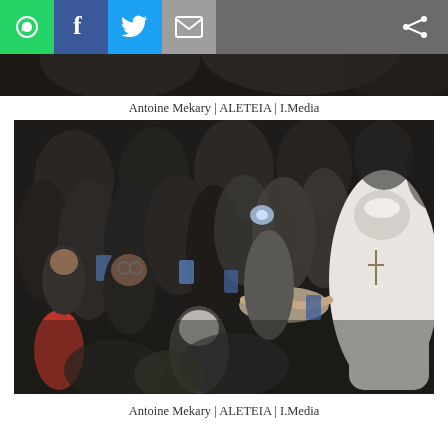[Figure (other): Social media share bar with WhatsApp, Facebook, Twitter, Email, and generic share icons on a dark grey background]
[Figure (photo): Partial view of a crowd scene, dark photo cropped at top of page]
Antoine Mekary | ALETEIA | I.Media
[Figure (photo): Pope Francis in white vestments greeting and shaking hands with a large crowd of faithful people inside a hall, many people taking photos with smartphones. Crowd includes men, women, and children.]
Antoine Mekary | ALETEIA | I.Media